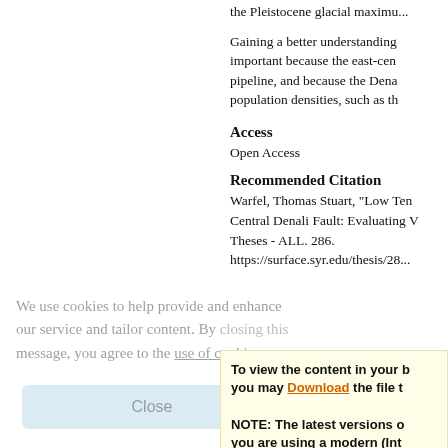the Pleistocene glacial maximu...
Gaining a better understanding important because the east-ce... pipeline, and because the Dena... population densities, such as th...
Access
Open Access
Recommended Citation
Warfel, Thomas Stuart, "Low Te... Central Denali Fault: Evaluating ... Theses - ALL. 286. https://surface.syr.edu/thesis/28...
We use cookies to help provide and enhance our service and tailor content. By closing this message, you agree to the use of cookies.
Close
To view the content in your b... you may Download the file t...

NOTE: The latest versions o... you are using a modern (Int...